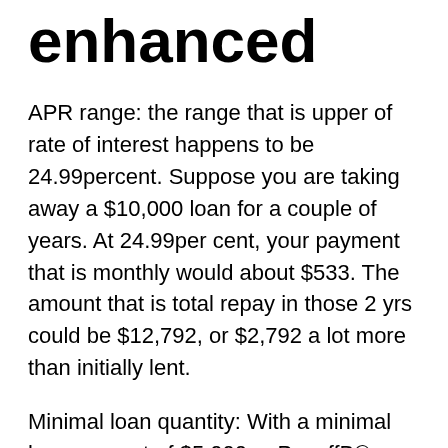enhanced
APR range: the range that is upper of rate of interest happens to be 24.99percent. Suppose you are taking away a $10,000 loan for a couple of years. At 24.99per cent, your payment that is monthly would about $533. The amount that is total repay in those 2 yrs could be $12,792, or $2,792 a lot more than initially lent.
Minimal loan quantity: With a minimal loan amount of $5,000, a PayoffB® Loan isn't the proper complement some body trying to borrow a couple of thousand bucks.